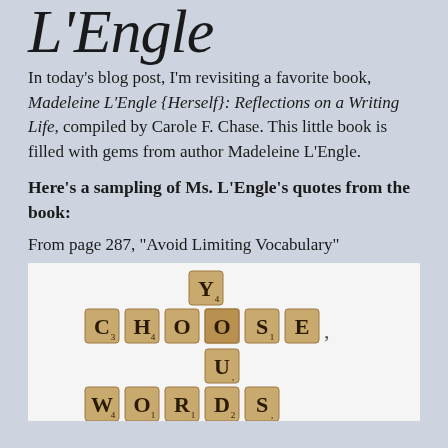L'Engle
In today’s blog post, I’m revisiting a favorite book, Madeleine L’Engle {Herself}: Reflections on a Writing Life, compiled by Carole F. Chase. This little book is filled with gems from author Madeleine L’Engle.
Here’s a sampling of Ms. L’Engle’s quotes from the book:
From page 287, “Avoid Limiting Vocabulary”
[Figure (photo): Scrabble tiles arranged in a crossword pattern spelling CHOOSE YOUR WORDS on a white background]